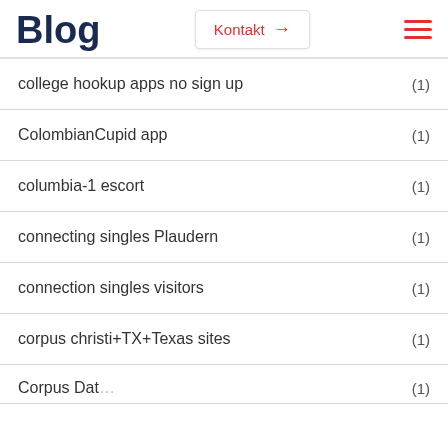Blog  Kontakt →  ☰
college hookup apps no sign up  (1)
ColombianCupid app  (1)
columbia-1 escort  (1)
connecting singles Plaudern  (1)
connection singles visitors  (1)
corpus christi+TX+Texas sites  (1)
Corpus Dati...  (1)